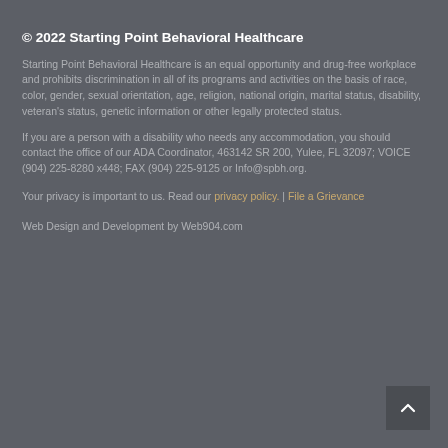© 2022 Starting Point Behavioral Healthcare
Starting Point Behavioral Healthcare is an equal opportunity and drug-free workplace and prohibits discrimination in all of its programs and activities on the basis of race, color, gender, sexual orientation, age, religion, national origin, marital status, disability, veteran's status, genetic information or other legally protected status.
If you are a person with a disability who needs any accommodation, you should contact the office of our ADA Coordinator, 463142 SR 200, Yulee, FL 32097; VOICE (904) 225-8280 x448; FAX (904) 225-9125 or Info@spbh.org.
Your privacy is important to us. Read our privacy policy.  |  File a Grievance
Web Design and Development by Web904.com